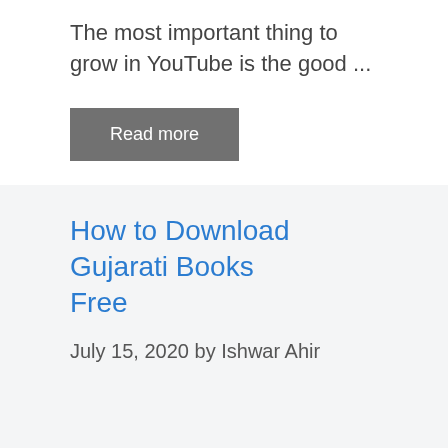The most important thing to grow in YouTube is the good ...
Read more
How to Download Gujarati Books Free
July 15, 2020 by Ishwar Ahir
[Figure (other): Blue and yellow/green striped image banner at bottom of page]